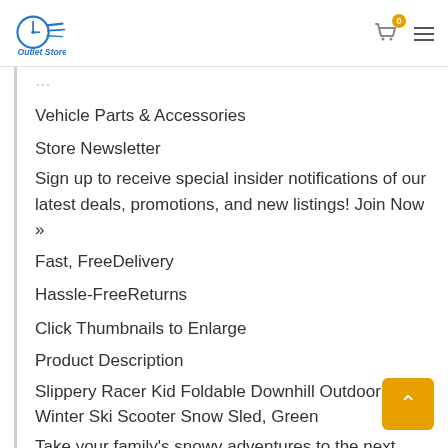Outlet Store
Vehicle Parts & Accessories
Store Newsletter
Sign up to receive special insider notifications of our latest deals, promotions, and new listings! Join Now »
Fast, FreeDelivery
Hassle-FreeReturns
Click Thumbnails to Enlarge
Product Description
Slippery Racer Kid Foldable Downhill Outdoor Winter Ski Scooter Snow Sled, Green
Take your family's snowy adventures to the next level with the Slipper Racer Downhill Ski Scooter Snow Sled. This winter toy is perfect for kiddos ages 4 years old and up with adult supervision